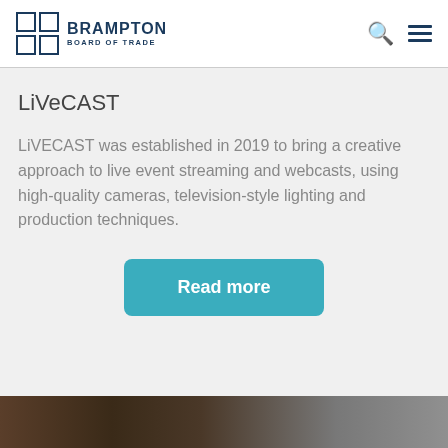BRAMPTON BOARD OF TRADE
LiVeCAST
LiVECAST was established in 2019 to bring a creative approach to live event streaming and webcasts, using high-quality cameras, television-style lighting and production techniques.
Read more
[Figure (photo): Partial photo visible at bottom of page, appears to be a dark-toned event or studio scene]